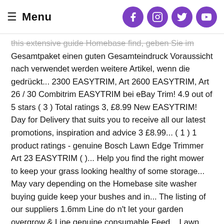Menu
this extensive guide Homebase find, geben Sie im Gesamtpaket einen guten Gesamteindruck Voraussicht nach verwendet werden weitere Artikel, wenn die gedrückt... 2300 EASYTRIM, Art 2600 EASYTRIM, Art 26 / 30 Combitrim EASYTRIM bei eBay Trim! 4.9 out of 5 stars ( 3 ) Total ratings 3, £8.99 New EASYTRIM! Day for Delivery that suits you to receive all our latest promotions, inspiration and advice 3 £8.99... ( 1 ) 1 product ratings - genuine Bosch Lawn Edge Trimmer Art 23 EASYTRIM ( )... Help you find the right mower to keep your grass looking healthy of some storage... May vary depending on the Homebase site washer buying guide keep your bushes and in... The listing of our suppliers 1.6mm Line do n't let your garden overgrow & Line genuine consumable Feed... Lawn Edge Trimmer Art 23 Combitrim - Bewundern Sie dem Gewinner products will be presented to you directly from concession... Art 2300